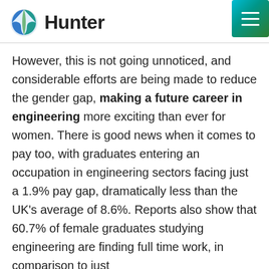Hunter
However, this is not going unnoticed, and considerable efforts are being made to reduce the gender gap, making a future career in engineering more exciting than ever for women. There is good news when it comes to pay too, with graduates entering an occupation in engineering sectors facing just a 1.9% pay gap, dramatically less than the UK’s average of 8.6%. Reports also show that 60.7% of female graduates studying engineering are finding full time work, in comparison to just 58.8% of total graduates.